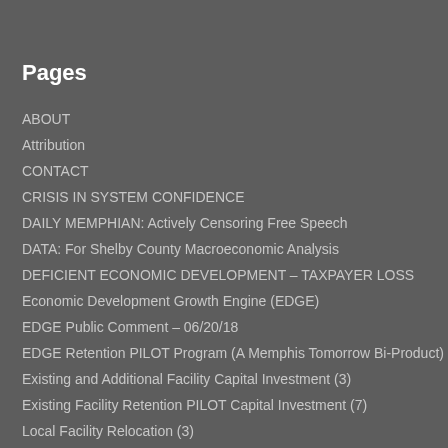Pages
ABOUT
Attribution
CONTACT
CRISIS IN SYSTEM CONFIDENCE
DAILY MEMPHIAN: Actively Censoring Free Speech
DATA: For Shelby County Macroeconomic Analysis
DEFICIENT ECONOMIC DEVELOPMENT – TAXPAYER LOSS
Economic Development Growth Engine (EDGE)
EDGE Public Comment – 06/20/18
EDGE Retention PILOT Program (A Memphis Tomorrow Bi-Product)
Existing and Additional Facility Capital Investment (3)
Existing Facility Retention PILOT Capital Investment (7)
Local Facility Relocation (3)
New and Existing Facility Capital Investment (1)